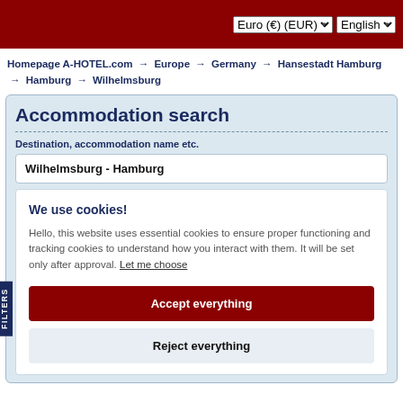Euro (€) (EUR)  English
Homepage A-HOTEL.com → Europe → Germany → Hansestadt Hamburg → Hamburg → Wilhelmsburg
Accommodation search
Destination, accommodation name etc.
Wilhelmsburg - Hamburg
We use cookies!
Hello, this website uses essential cookies to ensure proper functioning and tracking cookies to understand how you interact with them. It will be set only after approval. Let me choose
Accept everything
Reject everything